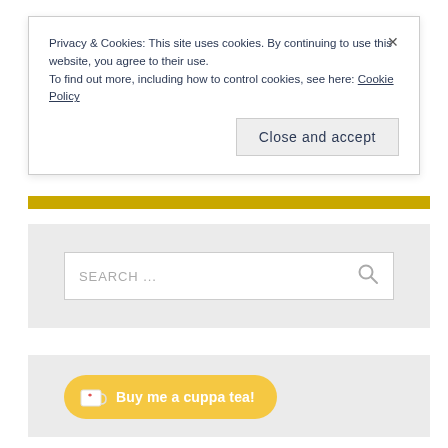Privacy & Cookies: This site uses cookies. By continuing to use this website, you agree to their use.
To find out more, including how to control cookies, see here: Cookie Policy
Close and accept
[Figure (screenshot): Search bar with placeholder text 'SEARCH ...' and a magnifying glass icon on the right, on a light grey background.]
[Figure (screenshot): Yellow rounded button with a kofi-style cup icon and text 'Buy me a cuppa tea!' on a light grey background.]